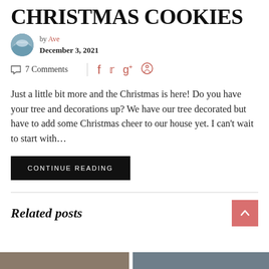CHRISTMAS COOKIES
by Ave
December 3, 2021
7 Comments
Just a little bit more and the Christmas is here! Do you have your tree and decorations up? We have our tree decorated but have to add some Christmas cheer to our house yet. I can't wait to start with...
CONTINUE READING
Related posts